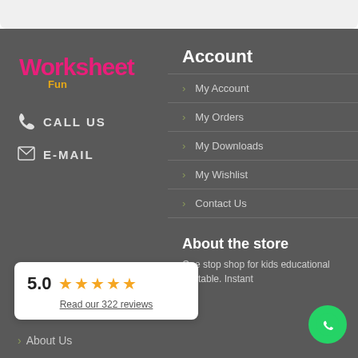[Figure (logo): WorksheetFun logo in pink and orange text]
CALL US
E-MAIL
Account
My Account
My Orders
My Downloads
My Wishlist
Contact Us
[Figure (infographic): Rating card showing 5.0 stars with 5 gold stars and link to 322 reviews]
About Us
About the store
One stop shop for kids educational printable. Instant
[Figure (logo): WhatsApp green circular button]